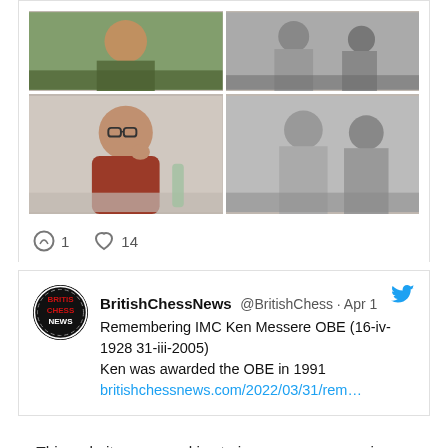[Figure (photo): 2x2 grid of photos: top-left color photo of person at chess board, top-right black and white photo of two men, bottom-left color photo of older man in red sweater with glasses thinking, bottom-right black and white photo of two people]
1   14
[Figure (screenshot): Tweet from BritishChessNews @BritishChess · Apr 1: Remembering IMC Ken Messere OBE (16-iv-1928 31-iii-2005) Ken was awarded the OBE in 1991 britishchessnews.com/2022/03/31/rem...]
This website uses cookies to improve your experience. We'll assume you're ok with this, but you can opt-out if you wish.
Cookie settings
ACCEPT